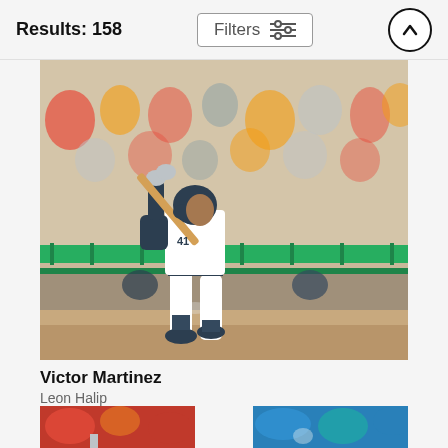Results: 158
Filters
[Figure (photo): Baseball player Victor Martinez in a white Detroit Tigers uniform mid-swing with a wooden bat, stadium crowd visible in background]
Victor Martinez
Leon Halip
$9.62
[Figure (photo): Partial thumbnail of a baseball scene with red/orange tones, bottom left]
[Figure (photo): Partial thumbnail of a baseball scene with blue tones, bottom right]